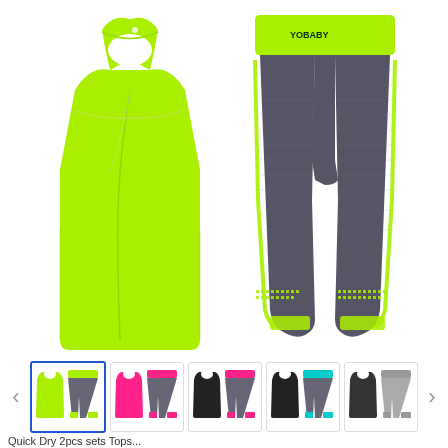[Figure (photo): E-commerce product image showing a women's athletic wear set: a neon green/yellow racerback tank top on the left and dark gray/charcoal capri leggings with neon green accents on the right, displayed on a white background.]
[Figure (photo): Thumbnail carousel with navigation arrows showing 5 color variants of the athletic wear set: (1) neon green/gray - selected with blue border, (2) hot pink/gray, (3) black/pink, (4) black/teal, (5) black/gray. Left and right navigation arrows flank the thumbnails.]
Quick Dry 2pcs sets Tops...